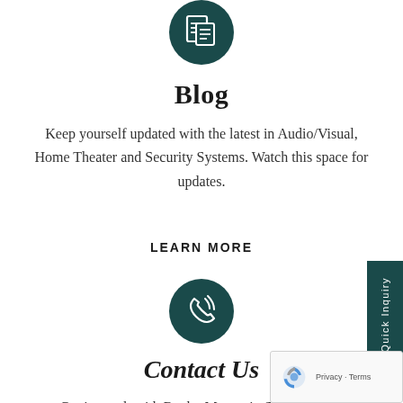[Figure (illustration): Dark teal circular icon with a blog/document symbol (pages with lines) on white background]
Blog
Keep yourself updated with the latest in Audio/Visual, Home Theater and Security Systems. Watch this space for updates.
LEARN MORE
[Figure (illustration): Dark teal circular icon with a phone/call symbol on white background]
Contact Us
Get in touch with Rocky Mountain Sound and Security for any Home Theatre and Audio Visual Presentation Systems.